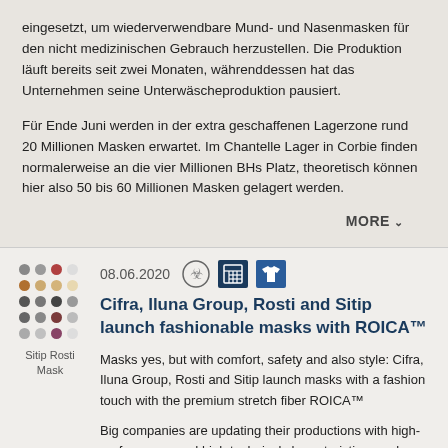eingesetzt, um wiederverwendbare Mund- und Nasenmasken für den nicht medizinischen Gebrauch herzustellen. Die Produktion läuft bereits seit zwei Monaten, währenddessen hat das Unternehmen seine Unterwäscheproduktion pausiert.
Für Ende Juni werden in der extra geschaffenen Lagerzone rund 20 Millionen Masken erwartet. Im Chantelle Lager in Corbie finden normalerweise an die vier Millionen BHs Platz, theoretisch können hier also 50 bis 60 Millionen Masken gelagert werden.
MORE ∨
[Figure (photo): Thumbnail image of Sitip Rosti Mask showing a grid of colorful mask fabric swatches]
Sitip Rosti Mask
08.06.2020
Cifra, Iluna Group, Rosti and Sitip launch fashionable masks with ROICA™
Masks yes, but with comfort, safety and also style: Cifra, Iluna Group, Rosti and Sitip launch masks with a fashion touch with the premium stretch fiber ROICA™
Big companies are updating their productions with high-performance and high technical characteristics masks, result of their historical experience and